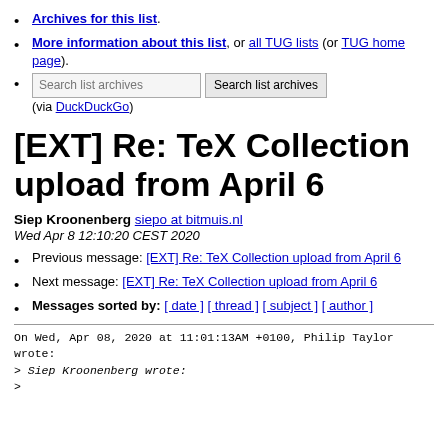Archives for this list.
More information about this list, or all TUG lists (or TUG home page).
Search list archives [button] (via DuckDuckGo)
[EXT] Re: TeX Collection upload from April 6
Siep Kroonenberg siepo at bitmuis.nl
Wed Apr 8 12:10:20 CEST 2020
Previous message: [EXT] Re: TeX Collection upload from April 6
Next message: [EXT] Re: TeX Collection upload from April 6
Messages sorted by: [ date ] [ thread ] [ subject ] [ author ]
On Wed, Apr 08, 2020 at 11:01:13AM +0100, Philip Taylor
wrote:
> Siep Kroonenberg wrote:
>